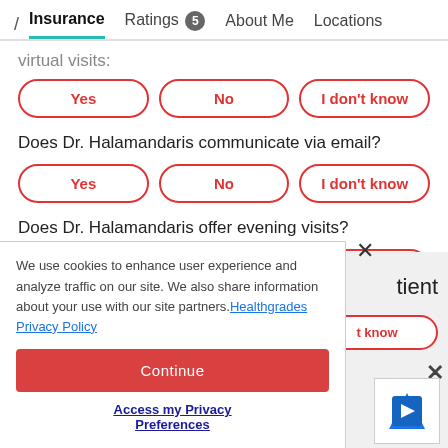/ Insurance  Ratings 5  About Me  Locations
virtual visits:
Yes | No | I don't know
Does Dr. Halamandaris communicate via email?
Yes | No | I don't know
Does Dr. Halamandaris offer evening visits?
Yes | No | I don't know
We use cookies to enhance user experience and analyze traffic on our site. We also share information about your use with our site partners. Healthgrades Privacy Policy
Continue
Access my Privacy Preferences